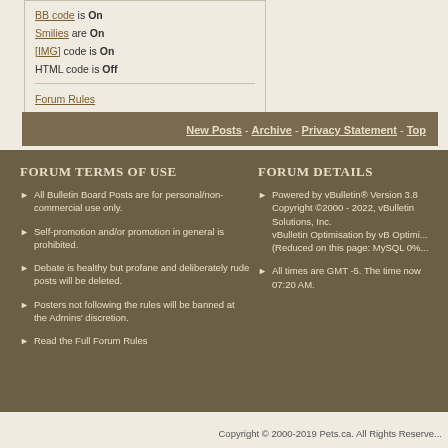BB code is On
Smilies are On
[IMG] code is On
HTML code is Off
Forum Rules
New Posts - Archive - Privacy Statement - Top
FORUM TERMS OF USE
All Bulletin Board Posts are for personal/non-commercial use only.
Self-promotion and/or promotion in general is prohibited.
Debate is healthy but profane and deliberately rude posts will be deleted.
Posters not following the rules will be banned at the Admins' discretion.
Read the Full Forum Rules
FORUM DETAILS
Powered by vBulletin® Version 3.8... Copyright ©2000 - 2022, vBulletin Solutions, Inc. vBulletin Optimisation by vB Optimi... (Reduced on this page: MySQL 0%...
All times are GMT -5. The time now... 07:20 AM.
Copyright © 2000-2019 Pets.ca. All Rights Reserve...